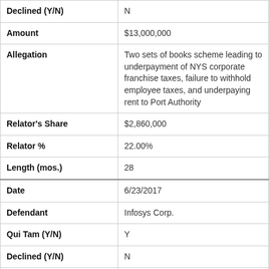| Field | Value |
| --- | --- |
| Declined (Y/N) | N |
| Amount | $13,000,000 |
| Allegation | Two sets of books scheme leading to underpayment of NYS corporate franchise taxes, failure to withhold employee taxes, and underpaying rent to Port Authority |
| Relator's Share | $2,860,000 |
| Relator % | 22.00% |
| Length (mos.) | 28 |
| Date | 6/23/2017 |
| Defendant | Infosys Corp. |
| Qui Tam (Y/N) | Y |
| Declined (Y/N) | N |
| Amount | $1,000,000 |